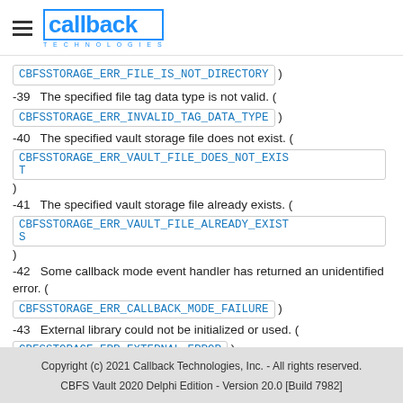callback Technologies
-39   The specified file tag data type is not valid. ( CBFSSTORAGE_ERR_INVALID_TAG_DATA_TYPE )
-40   The specified vault storage file does not exist. ( CBFSSTORAGE_ERR_VAULT_FILE_DOES_NOT_EXIST )
-41   The specified vault storage file already exists. ( CBFSSTORAGE_ERR_VAULT_FILE_ALREADY_EXISTS )
-42   Some callback mode event handler has returned an unidentified error. ( CBFSSTORAGE_ERR_CALLBACK_MODE_FAILURE )
-43   External library could not be initialized or used. ( CBFSSTORAGE_ERR_EXTERNAL_ERROR )
Copyright (c) 2021 Callback Technologies, Inc. - All rights reserved.
CBFS Vault 2020 Delphi Edition - Version 20.0 [Build 7982]